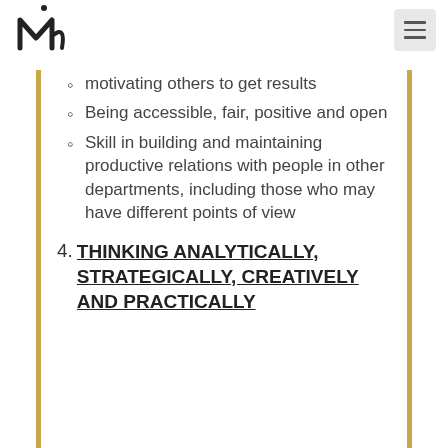[Logo] [Hamburger menu]
motivating others to get results
Being accessible, fair, positive and open
Skill in building and maintaining productive relations with people in other departments, including those who may have different points of view
4. THINKING ANALYTICALLY, STRATEGICALLY, CREATIVELY AND PRACTICALLY